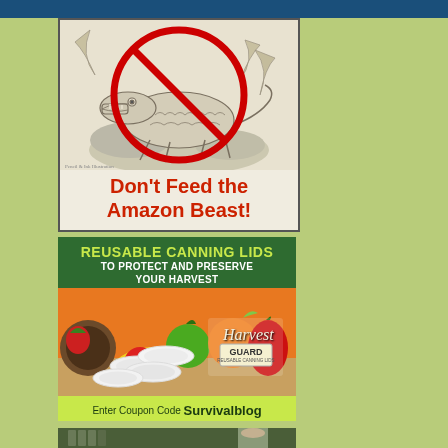[Figure (illustration): Advertisement with illustration of a crocodile/lizard with a red prohibition circle-slash symbol over it. Pencil sketch style on light background.]
Don't Feed the Amazon Beast!
[Figure (infographic): Advertisement for Harvest Guard Reusable Canning Lids showing white canning lids arranged on a table with colorful fruits and vegetables in the background. Includes Harvest Guard logo and coupon code.]
REUSABLE CANNING LIDS
TO PROTECT AND PRESERVE YOUR HARVEST
Enter Coupon Code Survivalblog
[Figure (photo): Partial photo at bottom showing what appears to be canning supplies.]